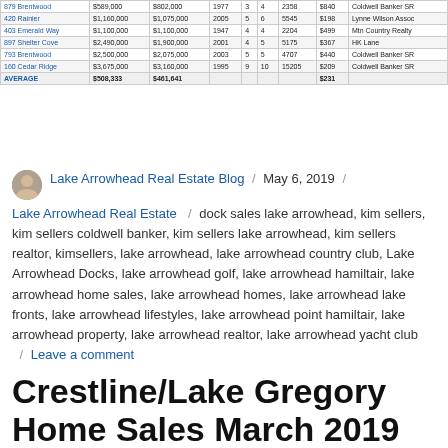| Address | List Price | Sale Price | Year | Bd | Ba | Sq Ft | $/Sq Ft | Office |
| --- | --- | --- | --- | --- | --- | --- | --- | --- |
| 879 Brentwood | $589,000 | $802,000 | 1977 | 3 | 4 | 2358 | $840 | Coldwell Banker SR |
| 420 Rainier | $1,160,000 | $1,075,000 | 2005 | 5 | 6 | 5545 | $198 | Lynne Wilson Assoc |
| 403 Emerald Way | $1,100,000 | $1,100,000 | 1947 | 4 | 4 | 2204 | $499 | Mtn Country Realty |
| 897 Shelter Cove | $2,490,000 | $1,900,000 | 2001 | 4 | 5 | 5175 | $367 | HK Lane |
| 793 Brentwood | $2,500,000 | $2,075,000 | 2003 | 5 | 5 | 4707 | $440 | Coldwell Banker SR |
| 160 Cedar Ridge | $3,675,000 | $3,160,000 | 1995 | 9 | 10 | 15205 | $209 | Coldwell Banker SR |
| AVERAGE | $508,333 | $481,641 |  |  |  |  | $231 |  |
Lake Arrowhead Real Estate Blog / May 6, 2019 / Lake Arrowhead Real Estate / dock sales lake arrowhead, kim sellers, kim sellers coldwell banker, kim sellers lake arrowhead, kim sellers realtor, kimsellers, lake arrowhead, lake arrowhead country club, Lake Arrowhead Docks, lake arrowhead golf, lake arrowhead hamiltair, lake arrowhead home sales, lake arrowhead homes, lake arrowhead lake fronts, lake arrowhead lifestyles, lake arrowhead point hamiltair, lake arrowhead property, lake arrowhead realtor, lake arrowhead yacht club / Leave a comment
Crestline/Lake Gregory Home Sales March 2019